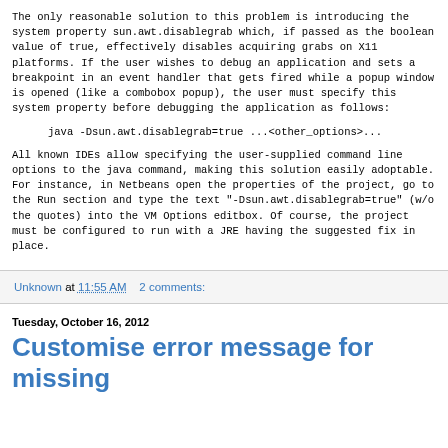The only reasonable solution to this problem is introducing the system property sun.awt.disablegrab which, if passed as the boolean value of true, effectively disables acquiring grabs on X11 platforms. If the user wishes to debug an application and sets a breakpoint in an event handler that gets fired while a popup window is opened (like a combobox popup), the user must specify this system property before debugging the application as follows:
java -Dsun.awt.disablegrab=true ...<other_options>...
All known IDEs allow specifying the user-supplied command line options to the java command, making this solution easily adoptable. For instance, in Netbeans open the properties of the project, go to the Run section and type the text "-Dsun.awt.disablegrab=true" (w/o the quotes) into the VM Options editbox. Of course, the project must be configured to run with a JRE having the suggested fix in place.
Unknown at 11:55 AM   2 comments:
Tuesday, October 16, 2012
Customise error message for missing